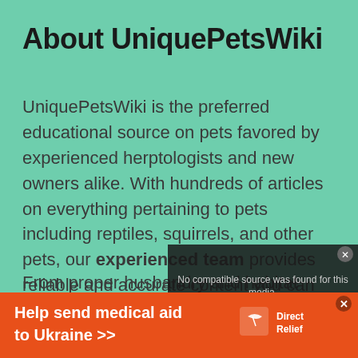About UniquePetsWiki
UniquePetsWiki is the preferred educational source on pets favored by experienced herptologists and new owners alike. With hundreds of articles on everything pertaining to pets including reptiles, squirrels, and other pets, our experienced team provides reliable and accurate content you can trust.
From proper husbandry and habitat guidance, to articles on health concerns, diet, and extensive care guides, UniquePetsWiki is here to educate
[Figure (screenshot): Video overlay with text 'No compatible source was found for this media.' and a dark playback bar.]
[Figure (infographic): Orange advertisement banner reading 'Help send medical aid to Ukraine >>' with Direct Relief logo.]